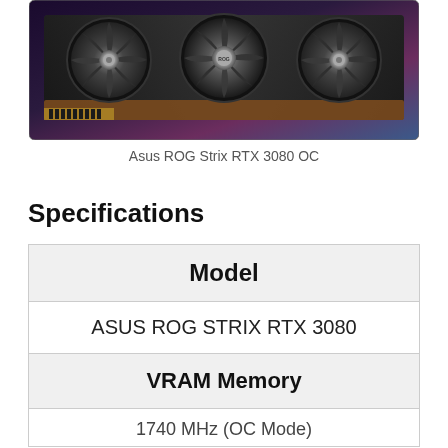[Figure (photo): Photo of an ASUS ROG Strix RTX 3080 OC graphics card showing three large fans and the card's shroud, with a purple/blue background lighting.]
Asus ROG Strix RTX 3080 OC
Specifications
| Model |
| --- |
| ASUS ROG STRIX RTX 3080 |
| VRAM Memory |
| 1740 MHz (OC Mode) |